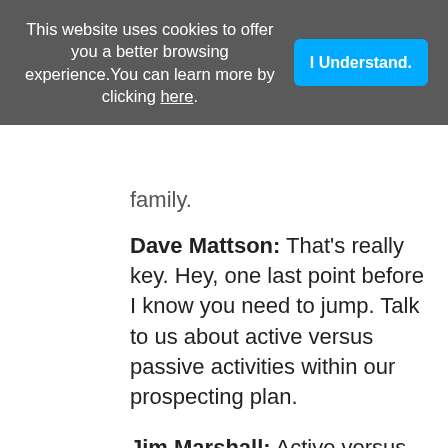This website uses cookies to offer you a better browsing experience. You can learn more by clicking here.
family.
Dave Mattson: That's really key. Hey, one last point before I know you need to jump. Talk to us about active versus passive activities within our prospecting plan.
Jim Marshall: Active versus passive. The activities that you're engaging in, are they measurable? Are they